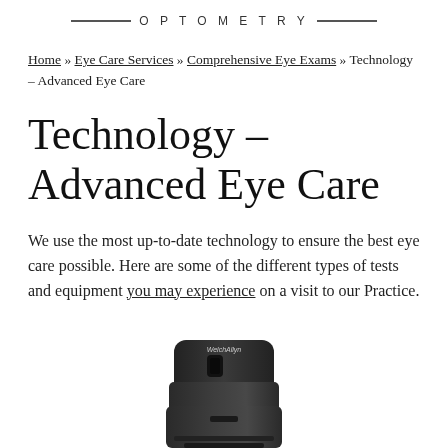OPTOMETRY
Home » Eye Care Services » Comprehensive Eye Exams » Technology – Advanced Eye Care
Technology – Advanced Eye Care
We use the most up-to-date technology to ensure the best eye care possible. Here are some of the different types of tests and equipment you may experience on a visit to our Practice.
[Figure (photo): A Welch Allyn ophthalmoscope/medical device, black, with 'WelchAllyn' branding on the front, shown from the front-top angle against a white background.]